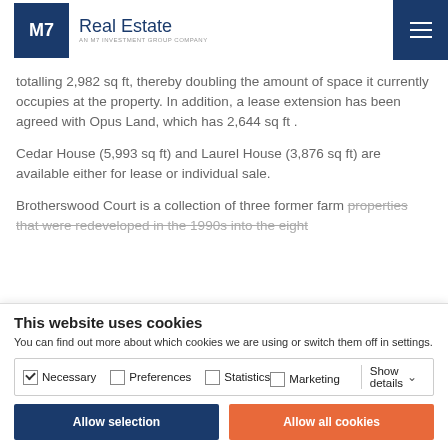M7 Real Estate — AN M7 INVESTMENT GROUP COMPANY
totalling 2,982 sq ft, thereby doubling the amount of space it currently occupies at the property. In addition, a lease extension has been agreed with Opus Land, which has 2,644 sq ft .
Cedar House (5,993 sq ft) and Laurel House (3,876 sq ft) are available either for lease or individual sale.
Brotherswood Court is a collection of three former farm properties that were redeveloped in the 1990s into the eight
This website uses cookies
You can find out more about which cookies we are using or switch them off in settings.
Necessary  Preferences  Statistics  Show details  Marketing
Allow selection   Allow all cookies